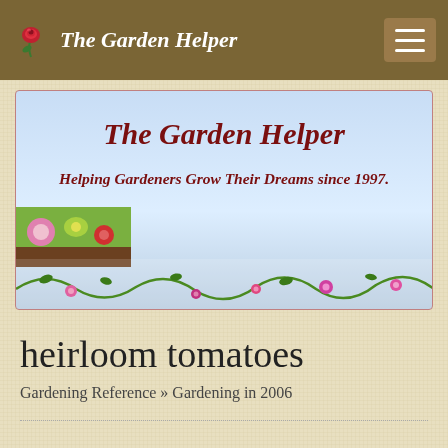The Garden Helper
[Figure (screenshot): Banner image with sky background showing 'The Garden Helper – Helping Gardeners Grow Their Dreams since 1997.' with flower vine border at bottom and garden flowers in lower-left corner]
heirloom tomatoes
Gardening Reference » Gardening in 2006